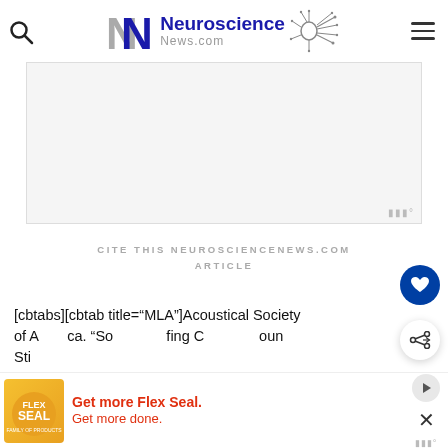[Figure (logo): Neuroscience News.com website header logo with stylized NN letters and neuron graphic]
[Figure (other): Advertisement banner placeholder with Mediavine watermark]
CITE THIS NEUROSCIENCENEWS.COM ARTICLE
[cbtabs][cbtab title="MLA"]Acoustical Society of America. "Soundproofing Cockles Silence Stir...